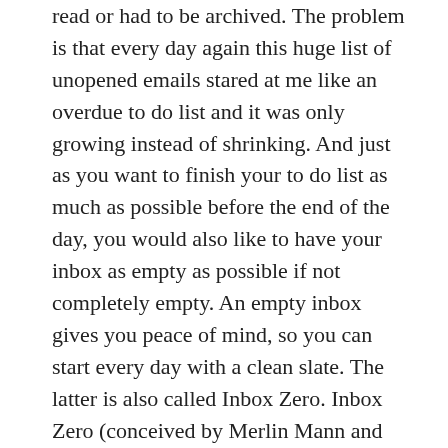read or had to be archived. The problem is that every day again this huge list of unopened emails stared at me like an overdue to do list and it was only growing instead of shrinking. And just as you want to finish your to do list as much as possible before the end of the day, you would also like to have your inbox as empty as possible if not completely empty. An empty inbox gives you peace of mind, so you can start every day with a clean slate. The latter is also called Inbox Zero. Inbox Zero (conceived by Merlin Mann and based on Getting Things Done by David Allen), however, is more than just an empty inbox. It is primarily a method to achieve that empty inbox and to actually deal with your unread mail in the right and most effective way. With Inbox Zero you go through processing, prioritizing and organizing steps. Everyone can do it in their own way, but basically it is advisable to think about a number of focussed folders or labels that support this approach. For example, create folders in your mail